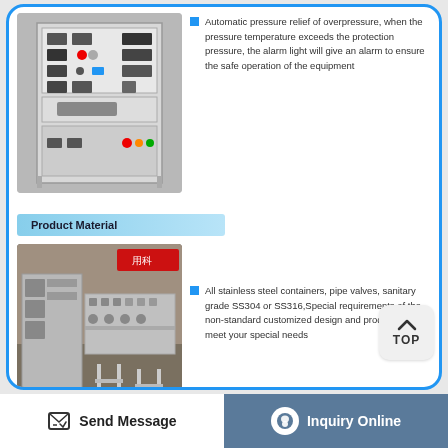[Figure (photo): Industrial electrical control panel cabinet with multiple switches and meters mounted in a gray metal enclosure]
Automatic pressure relief of overpressure, when the pressure temperature exceeds the protection pressure, the alarm light will give an alarm to ensure the safe operation of the equipment
Product Material
[Figure (photo): Industrial stainless steel equipment and machinery in a factory setting with a red Chinese sign, multiple valves and control panels visible]
All stainless steel containers, pipe valves, sanitary grade SS304 or SS316,Special requirements of the non-standard customized design and production to meet your special needs
Send Message
Inquiry Online